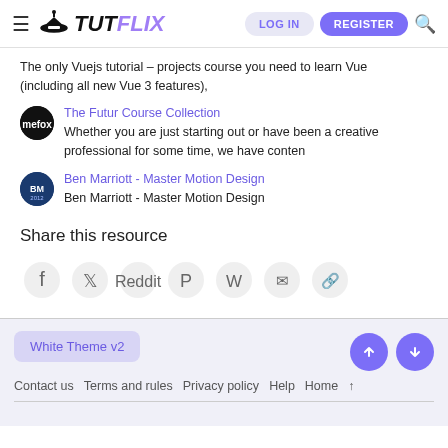TUTFLIX - LOG IN - REGISTER
The only Vuejs tutorial - projects course you need to learn Vue (including all new Vue 3 features),
The Futur Course Collection - Whether you are just starting out or have been a creative professional for some time, we have conten
Ben Marriott - Master Motion Design - Ben Marriott - Master Motion Design
Share this resource
Share icons: Facebook, Twitter, Reddit, Pinterest, WhatsApp, Email, Link
White Theme v2 | Contact us | Terms and rules | Privacy policy | Help | Home